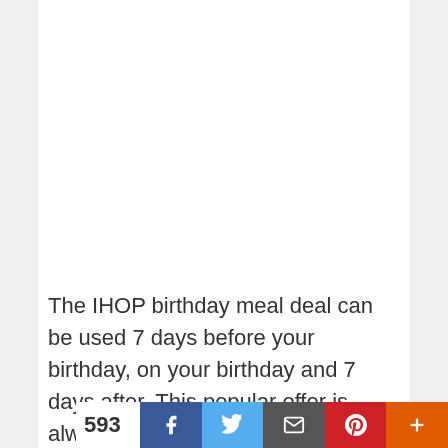The IHOP birthday meal deal can be used 7 days before your birthday, on your birthday and 7 days after. This popular offer is always on our Top 10 Free Birthday Meals list and can be enjoyed at over
593